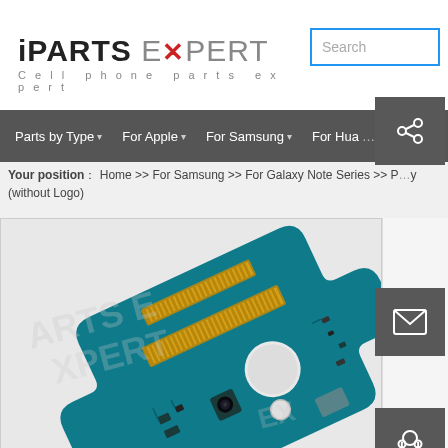[Figure (logo): iParts Expert logo with wrench icon and tagline 'Cell phone parts expert']
Search
Parts by Type ▾   For Apple ▾   For Samsung ▾   For Huawei ▾
Your position: Home >> For Samsung >> For Galaxy Note Series >> ... (without Logo)
[Figure (photo): Samsung Galaxy Note series motherboard/PCB sub-board with connectors, shown at an angle on a white background. The board is teal/blue-green colored with gold connectors. Watermark text 'ARTS EXPERT' is overlaid.]